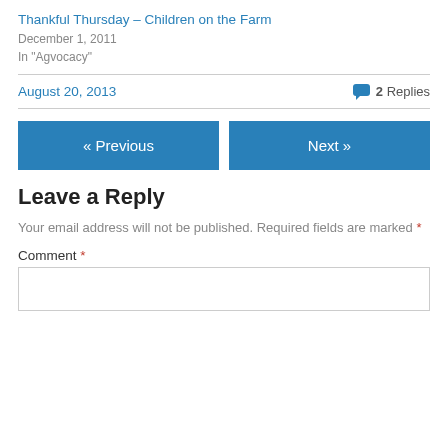Thankful Thursday – Children on the Farm
December 1, 2011
In "Agvocacy"
August 20, 2013
2 Replies
« Previous
Next »
Leave a Reply
Your email address will not be published. Required fields are marked *
Comment *